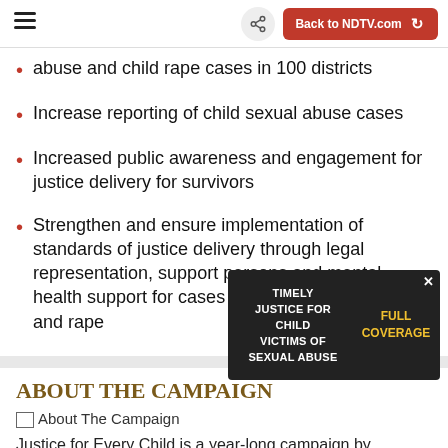Back to NDTV.com
abuse and child rape cases in 100 districts
Increase reporting of child sexual abuse cases
Increased public awareness and engagement for justice delivery for survivors
Strengthen and ensure implementation of standards of justice delivery through legal representation, support persons and mental health support for cases of child sexual abuse and rape
ABOUT THE CAMPAIGN
[Figure (photo): About The Campaign image placeholder]
Justice for Every Child is a year-long campaign by